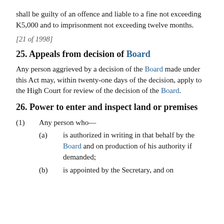shall be guilty of an offence and liable to a fine not exceeding K5,000 and to imprisonment not exceeding twelve months.
[21 of 1998]
25. Appeals from decision of Board
Any person aggrieved by a decision of the Board made under this Act may, within twenty-one days of the decision, apply to the High Court for review of the decision of the Board.
26. Power to enter and inspect land or premises
(1)   Any person who—
(a)   is authorized in writing in that behalf by the Board and on production of his authority if demanded;
(b)   is appointed by the Secretary, and on